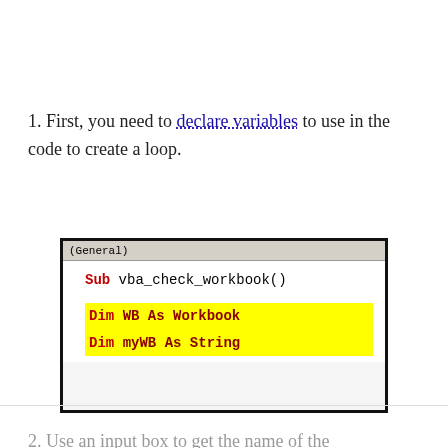1. First, you need to declare variables to use in the code to create a loop.
[Figure (screenshot): VBA code editor screenshot showing: header bar with '(General)', code block with 'Sub vba_check_workbook()' and two highlighted lines 'Dim WB As Workbook' and 'Dim myWB As String']
2. Use an input box to get the name of the